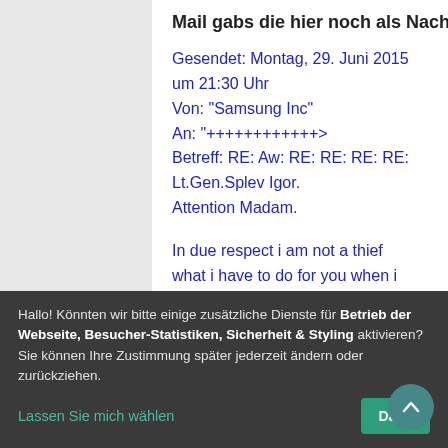Mail gabs die hier noch als Nachschlag...
Gesendet: Montag, 29. Juni 2015 um 21:30 Uhr
Von: "Samsung Inc"
An: "+++++++++++++>
Betreff: RE: Aw: RE: RE: RE: RE: Lt.Gen.Splev Igor. Attention Madam.
In due respect i am not a thief what i have to do for you when i get to office is to scan my ID to you and that is all i have to do
Hallo! Könnten wir bitte einige zusätzliche Dienste für Betrieb der Webseite, Besucher-Statistiken, Sicherheit & Styling aktivieren? Sie können Ihre Zustimmung später jederzeit ändern oder zurückziehen.
Lassen Sie mich wählen
Das i...